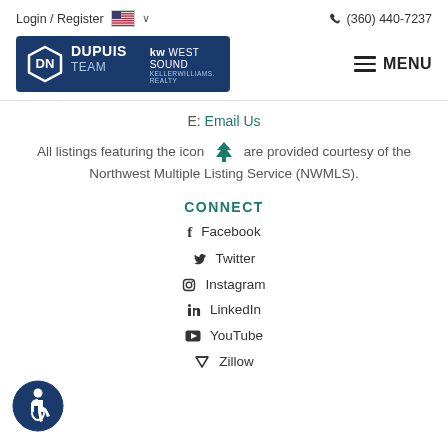Login / Register  🇺🇸 ∨    📞 (360) 440-7237
[Figure (logo): Dupuis Team KW West Sound Keller Williams Realty logo on dark blue background, with hamburger menu icon and MENU text]
E: Email Us
All listings featuring the icon 🌲🌲🌲 are provided courtesy of the Northwest Multiple Listing Service (NWMLS).
CONNECT
Facebook
Twitter
Instagram
LinkedIn
YouTube
Zillow
[Figure (logo): Accessibility icon - blue circle with wheelchair user symbol]